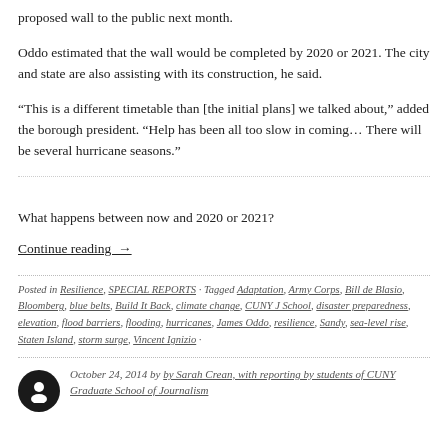proposed wall to the public next month.
Oddo estimated that the wall would be completed by 2020 or 2021. The city and state are also assisting with its construction, he said.
“This is a different timetable than [the initial plans] we talked about,” added the borough president. “Help has been all too slow in coming… There will be several hurricane seasons.”
What happens between now and 2020 or 2021?
Continue reading →
Posted in Resilience, SPECIAL REPORTS · Tagged Adaptation, Army Corps, Bill de Blasio, Bloomberg, blue belts, Build It Back, climate change, CUNY J School, disaster preparedness, elevation, flood barriers, flooding, hurricanes, James Oddo, resilience, Sandy, sea-level rise, Staten Island, storm surge, Vincent Ignizio ·
October 24, 2014 by by Sarah Crean, with reporting by students of CUNY Graduate School of Journalism